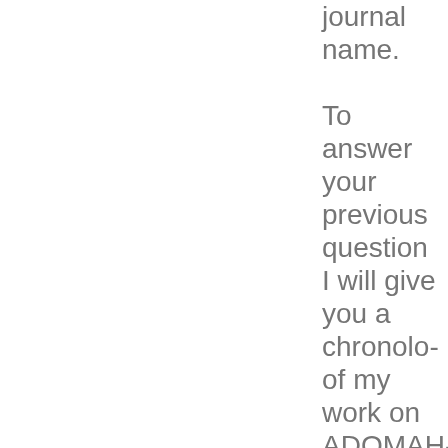journal name.

To answer your previous question I will give you a chronology of my work on ADOMAHPT and the Tetrahed I have